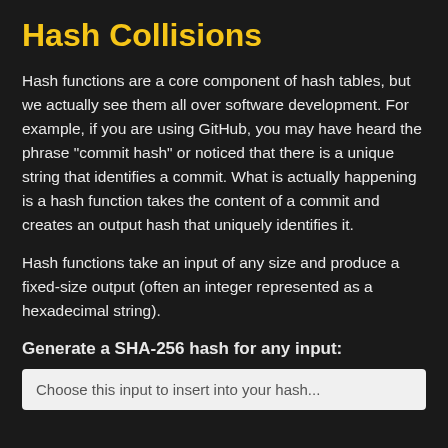Hash Collisions
Hash functions are a core component of hash tables, but we actually see them all over software development. For example, if you are using GitHub, you may have heard the phrase "commit hash" or noticed that there is a unique string that identifies a commit. What is actually happening is a hash function takes the content of a commit and creates an output hash that uniquely identifies it.
Hash functions take an input of any size and produce a fixed-size output (often an integer represented as a hexadecimal string).
Generate a SHA-256 hash for any input:
Choose this input to insert into your hash...